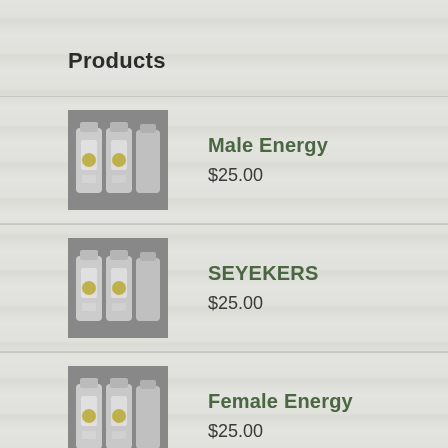Products
Male Energy
$25.00
SEYEKERS
$25.00
Female Energy
$25.00
Juice
$30.00